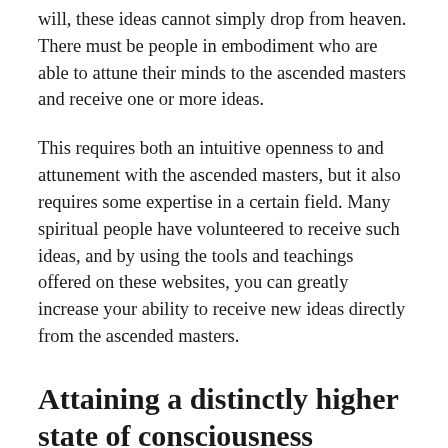will, these ideas cannot simply drop from heaven. There must be people in embodiment who are able to attune their minds to the ascended masters and receive one or more ideas.
This requires both an intuitive openness to and attunement with the ascended masters, but it also requires some expertise in a certain field. Many spiritual people have volunteered to receive such ideas, and by using the tools and teachings offered on these websites, you can greatly increase your ability to receive new ideas directly from the ascended masters.
Attaining a distinctly higher state of consciousness